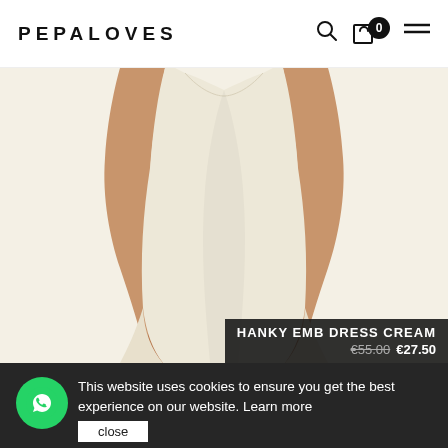PEPALOVES
[Figure (photo): A woman wearing a cream/beige short A-line dress, cropped to show torso and legs from mid-chest to mid-thigh. The dress is simple with a loose fit. White background.]
This website uses cookies to ensure you get the best experience on our website. Learn more
close
HANKY EMB DRESS CREAM
€55.00 €27.50